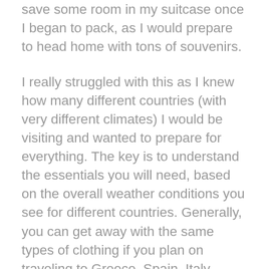save some room in my suitcase once I began to pack, as I would prepare to head home with tons of souvenirs.
I really struggled with this as I knew how many different countries (with very different climates) I would be visiting and wanted to prepare for everything. The key is to understand the essentials you will need, based on the overall weather conditions you see for different countries. Generally, you can get away with the same types of clothing if you plan on traveling to Greece, Spain, Italy, Morocco, etc. Although January and February might be a bit cooler, you still have those items for once it does warm up a bit. As for packing for countries when it might be a bit chillier at first, you can